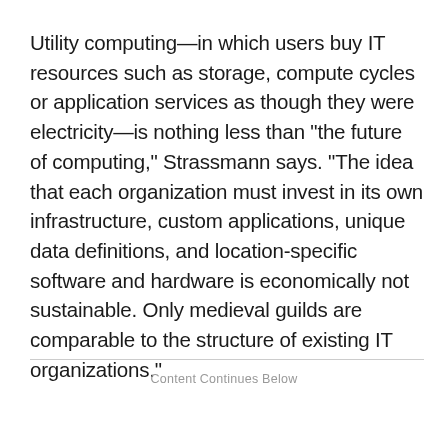Utility computing—in which users buy IT resources such as storage, compute cycles or application services as though they were electricity—is nothing less than "the future of computing," Strassmann says. "The idea that each organization must invest in its own infrastructure, custom applications, unique data definitions, and location-specific software and hardware is economically not sustainable. Only medieval guilds are comparable to the structure of existing IT organizations."
Content Continues Below